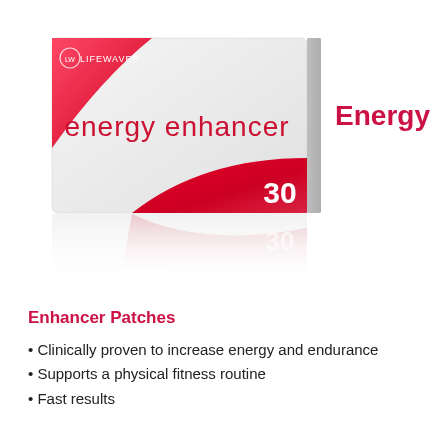[Figure (photo): Product box of LifeWave Energy Enhancer patches, white box with red swoosh design, showing '30' count, with a reflection below. Brand name 'LIFEWWAVE' visible on box.]
Energy
Enhancer Patches
Clinically proven to increase energy and endurance
Supports a physical fitness routine
Fast results